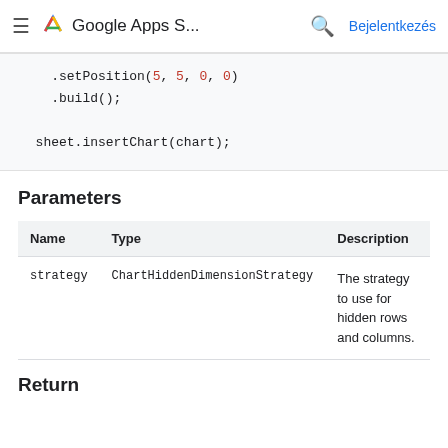Google Apps S... Bejelentkezés
.setPosition(5, 5, 0, 0)
.build();

sheet.insertChart(chart);
Parameters
| Name | Type | Description |
| --- | --- | --- |
| strategy | ChartHiddenDimensionStrategy | The strategy to use for hidden rows and columns. |
Return